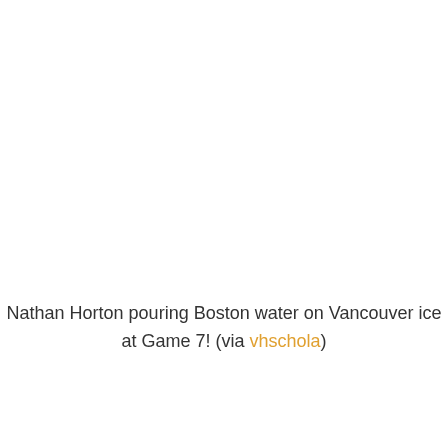Nathan Horton pouring Boston water on Vancouver ice at Game 7! (via vhschola)